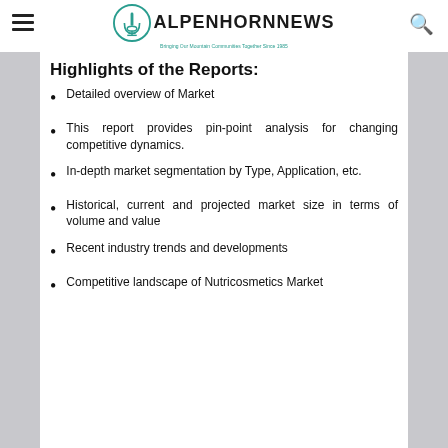ALPENHORNNEWS — Bringing Our Mountain Communities Together Since 1985
Highlights of the Reports:
Detailed overview of Market
This report provides pin-point analysis for changing competitive dynamics.
In-depth market segmentation by Type, Application, etc.
Historical, current and projected market size in terms of volume and value
Recent industry trends and developments
Competitive landscape of Nutricosmetics Market